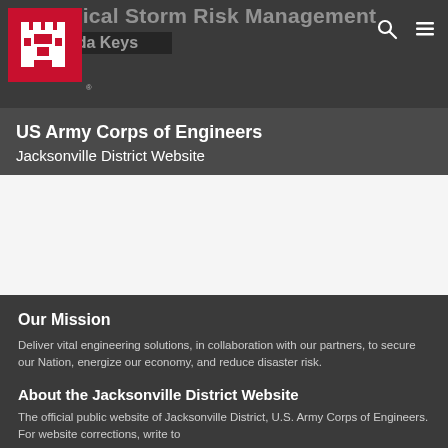Tropical Storm Risk Management
Florida Keys
US Army Corps of Engineers
Jacksonville District Website
[Figure (logo): US Army Corps of Engineers castle logo in red square]
Our Mission
Deliver vital engineering solutions, in collaboration with our partners, to secure our Nation, energize our economy, and reduce disaster risk.
About the Jacksonville District Website
The official public website of Jacksonville District, U.S. Army Corps of Engineers. For website corrections, write to